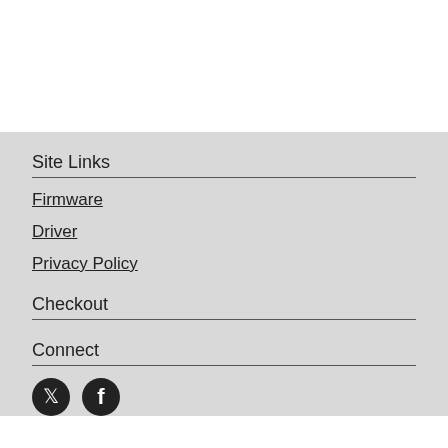Site Links
Firmware
Driver
Privacy Policy
Checkout
Connect
[Figure (illustration): Two social media icons: a bird (Twitter/X) and a Facebook logo]